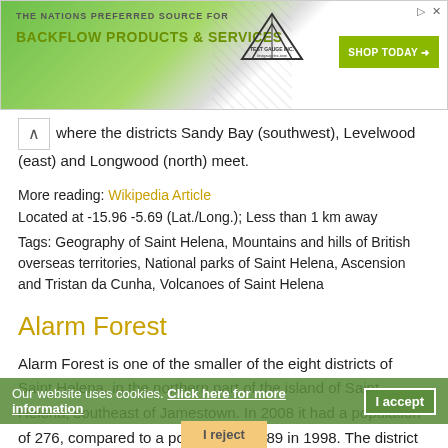[Figure (screenshot): Advertisement banner for Test Gauge Inc. - The Nations Preferred Source For Backflow Products & Services. Green and white background with shop today button.]
where the districts Sandy Bay (southwest), Levelwood (east) and Longwood (north) meet.
More reading: Wikipedia Article
Located at -15.96 -5.69 (Lat./Long.); Less than 1 km away
Tags: Geography of Saint Helena, Mountains and hills of British overseas territories, National parks of Saint Helena, Ascension and Tristan da Cunha, Volcanoes of Saint Helena
Alarm Forest
Alarm Forest is one of the smaller of the eight districts of Saint Helena, in the northern part of the island of Saint Helena, southeast of Jamestown. In 2008 it had a population of 276, compared to a population of 289 in 1998. The district was created between census years 1987 and 1998 from parts of Jamestown and Longwood. There is no settlement by that name, however. The main settlement is Briars